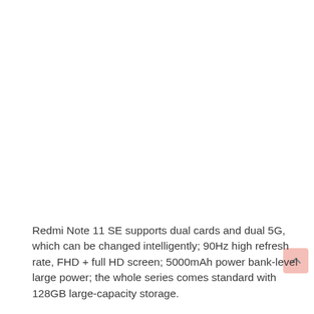Redmi Note 11 SE supports dual cards and dual 5G, which can be changed intelligently; 90Hz high refresh rate, FHD + full HD screen; 5000mAh power bank-level large power; the whole series comes standard with 128GB large-capacity storage.